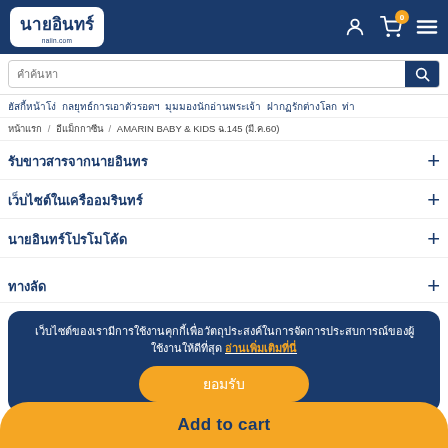[Figure (screenshot): Naiin.com website header with logo, user icon, cart icon showing 0 badge, and hamburger menu icon on dark blue background]
[Figure (screenshot): Search bar with placeholder text คำค้นหา and blue search button]
ฮัสกี้หน้าโง่  กลยุทธ์การเอาตัวรอดฯ  มุมมองนักอ่านพระเจ้า  ฝากฏรักต่างโลก  ท่า
หน้าแรก / อีแม็กกาซีน / AMARIN BABY & KIDS ฉ.145 (มี.ค.60)
รับขาวสารจากนายอินทร
เว็บไซต์ในเครืออมรินทร์
นายอินทร์โปรโมโค้ด
ทางลัด
เว็บไซต์ของเรามีการใช้งานคุกกี้เพื่อวัตถุประสงค์ในการจัดการประสบการณ์ของผู้ใช้งานให้ดีที่สุด อ่านเพิ่มเติมที่นี่
ยอมรับ
Add to cart